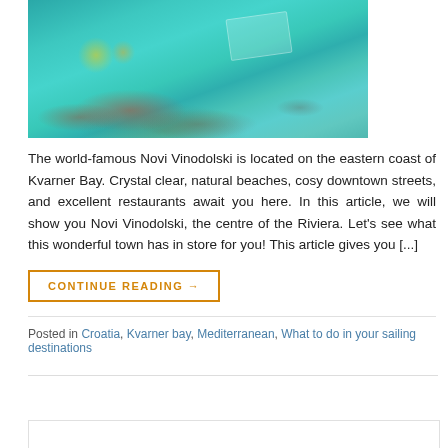[Figure (photo): Aerial view of Novi Vinodolski coastal beach with turquoise water, beach umbrellas, and a boat visible in the bay]
The world-famous Novi Vinodolski is located on the eastern coast of Kvarner Bay. Crystal clear, natural beaches, cosy downtown streets, and excellent restaurants await you here. In this article, we will show you Novi Vinodolski, the centre of the Riviera. Let's see what this wonderful town has in store for you! This article gives you [...]
CONTINUE READING →
Posted in Croatia, Kvarner bay, Mediterranean, What to do in your sailing destinations